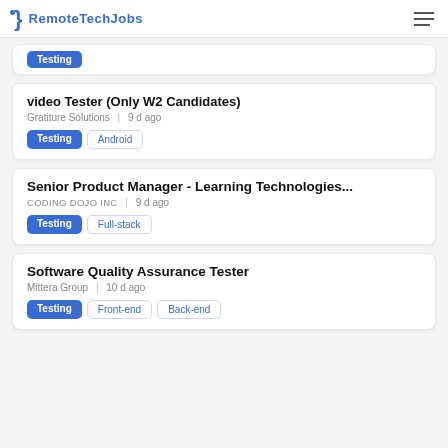RemoteTechJobs
Testing (tag only card)
video Tester (Only W2 Candidates) | Gratiture Solutions | 9 d ago | Testing, Android
Senior Product Manager - Learning Technologies... | CODING DOJO INC | 9 d ago | Testing, Full-stack
Software Quality Assurance Tester | Mittera Group | 10 d ago | Testing, Front-end, Back-end